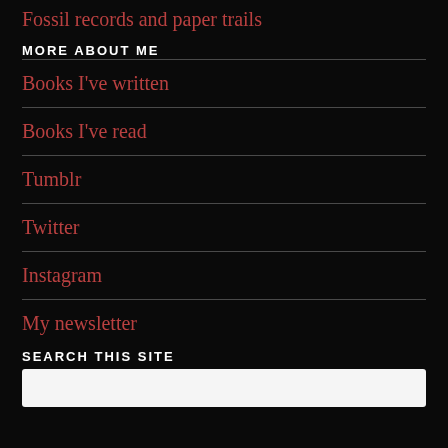Fossil records and paper trails
MORE ABOUT ME
Books I've written
Books I've read
Tumblr
Twitter
Instagram
My newsletter
SEARCH THIS SITE